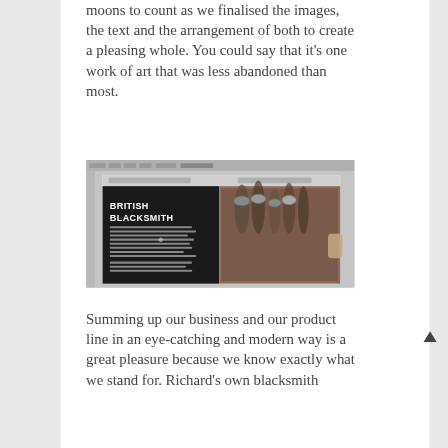moons to count as we finalised the images, the text and the arrangement of both to create a pleasing whole. You could say that it's one work of art that was less abandoned than most.
[Figure (screenshot): Screenshot of a website design for 'British Blacksmith' shown in a design application, with a black panel on the left showing bold white text 'BRITISH BLACKSMITH' and body copy, and a right panel showing metalwork tools/equipment photo.]
Summing up our business and our product line in an eye-catching and modern way is a great pleasure because we know exactly what we stand for. Richard's own blacksmith